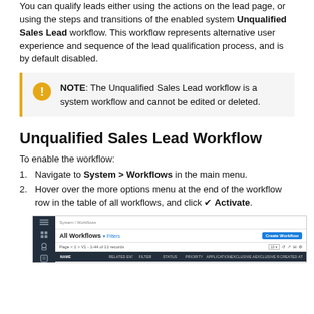You can qualify leads either using the actions on the lead page, or using the steps and transitions of the enabled system Unqualified Sales Lead workflow. This workflow represents alternative user experience and sequence of the lead qualification process, and is by default disabled.
NOTE: The Unqualified Sales Lead workflow is a system workflow and cannot be edited or deleted.
Unqualified Sales Lead Workflow
To enable the workflow:
Navigate to System > Workflows in the main menu.
Hover over the more options menu at the end of the workflow row in the table of all workflows, and click ✔ Activate.
[Figure (screenshot): Screenshot of the All Workflows page in the system, showing the workflow table with columns: Name, Related Entity, Filter, Status, Priority, Application, Exclusive Active Groups, Exclusive Record Groups, Created At. A Create Workflow button is visible in the top right.]